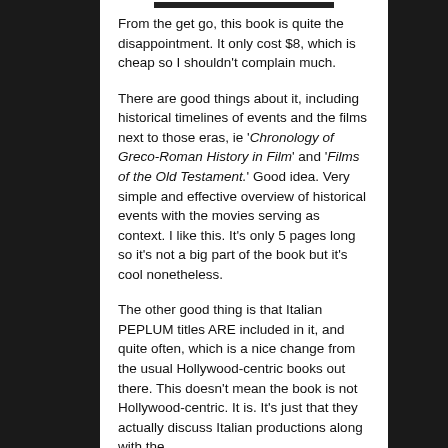From the get go, this book is quite the disappointment. It only cost $8, which is cheap so I shouldn't complain much.
There are good things about it, including historical timelines of events and the films next to those eras, ie 'Chronology of Greco-Roman History in Film' and 'Films of the Old Testament.' Good idea. Very simple and effective overview of historical events with the movies serving as context. I like this. It's only 5 pages long so it's not a big part of the book but it's cool nonetheless.
The other good thing is that Italian PEPLUM titles ARE included in it, and quite often, which is a nice change from the usual Hollywood-centric books out there. This doesn't mean the book is not Hollywood-centric. It is. It's just that they actually discuss Italian productions along with the